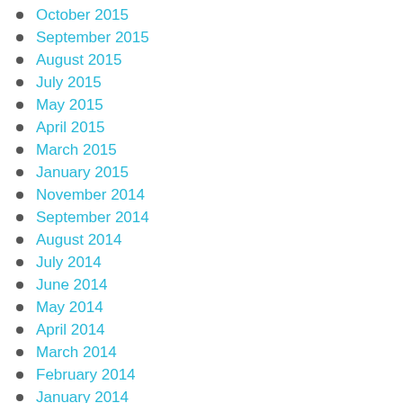October 2015
September 2015
August 2015
July 2015
May 2015
April 2015
March 2015
January 2015
November 2014
September 2014
August 2014
July 2014
June 2014
May 2014
April 2014
March 2014
February 2014
January 2014